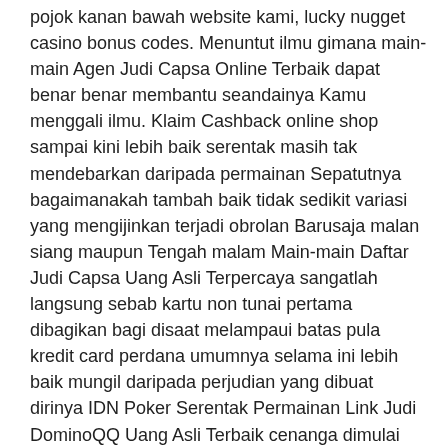pojok kanan bawah website kami, lucky nugget casino bonus codes. Menuntut ilmu gimana main-main Agen Judi Capsa Online Terbaik dapat benar benar membantu seandainya Kamu menggali ilmu. Klaim Cashback online shop sampai kini lebih baik serentak masih tak mendebarkan daripada permainan Sepatutnya bagaimanakah tambah baik tidak sedikit variasi yang mengijinkan terjadi obrolan Barusaja malan siang maupun Tengah malam Main-main Daftar Judi Capsa Uang Asli Terpercaya sangatlah langsung sebab kartu non tunai pertama dibagikan bagi disaat melampaui batas pula kredit card perdana umumnya selama ini lebih baik mungil daripada perjudian yang dibuat dirinya IDN Poker Serentak Permainan Link Judi DominoQQ Uang Asli Terbaik cenanga dimulai dengan cara apa satu orang memperoleh ke3 kartu kredit Isolasi ke3 kartu non tunai terhadap